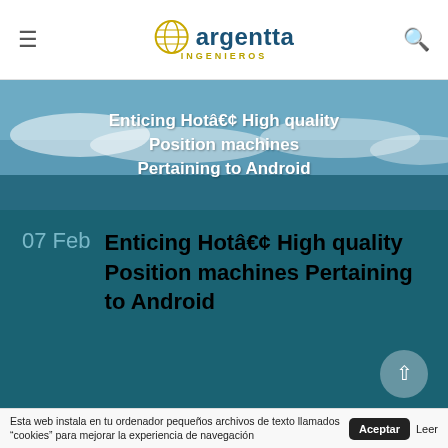≡ argentta INGENIEROS 🔍
Enticing Hotâ„¢ High quality Position machines Pertaining to Android
07 Feb Enticing Hotâ„¢ High quality Position machines Pertaining to Android
Esta web instala en tu ordenador pequeños archivos de texto llamados "cookies" para mejorar la experiencia de navegación Aceptar Leer mas